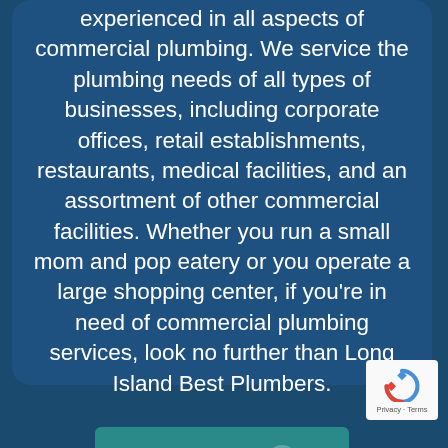experienced in all aspects of commercial plumbing. We service the plumbing needs of all types of businesses, including corporate offices, retail establishments, restaurants, medical facilities, and an assortment of other commercial facilities. Whether you run a small mom and pop eatery or you operate a large shopping center, if you're in need of commercial plumbing services, look no further than Long Island Best Plumbers.
[Figure (other): A teal 'Learn More' button with a right-arrow icon]
[Figure (logo): reCAPTCHA badge with Google logo and Privacy - Terms text]